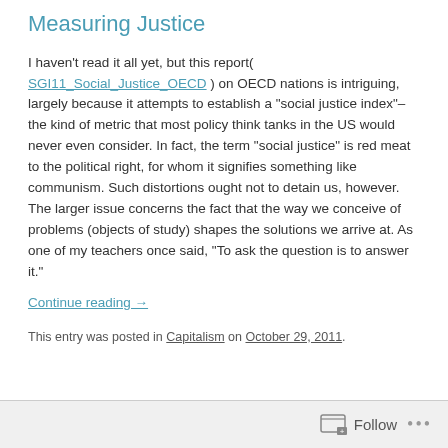Measuring Justice
I haven't read it all yet, but this report( SGI11_Social_Justice_OECD ) on OECD nations is intriguing, largely because it attempts to establish a "social justice index"– the kind of metric that most policy think tanks in the US would never even consider. In fact, the term "social justice" is red meat to the political right, for whom it signifies something like communism. Such distortions ought not to detain us, however. The larger issue concerns the fact that the way we conceive of problems (objects of study) shapes the solutions we arrive at. As one of my teachers once said, "To ask the question is to answer it."
Continue reading →
This entry was posted in Capitalism on October 29, 2011.
Follow ...